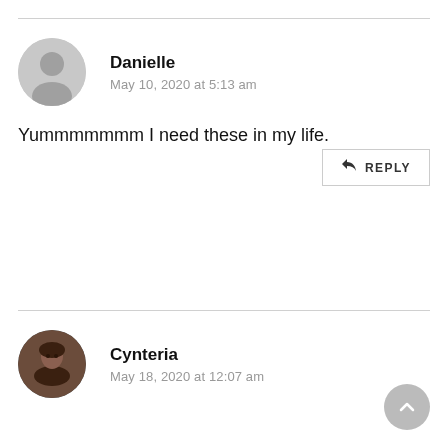Danielle
May 10, 2020 at 5:13 am
Yummmmmmm I need these in my life.
REPLY
Cynteria
May 18, 2020 at 12:07 am